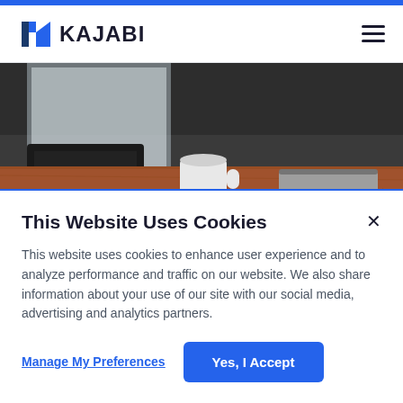KAJABI
[Figure (photo): A wooden desk scene with a laptop, white coffee mug, and a notebook with pen, photographed in a workspace setting.]
This Website Uses Cookies
This website uses cookies to enhance user experience and to analyze performance and traffic on our website. We also share information about your use of our site with our social media, advertising and analytics partners.
Manage My Preferences
Yes, I Accept